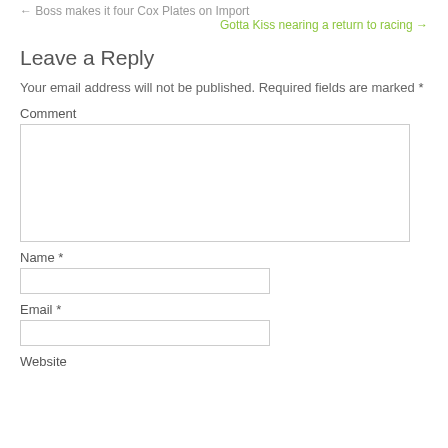← Boss makes it four Cox Plates on Import
Gotta Kiss nearing a return to racing →
Leave a Reply
Your email address will not be published. Required fields are marked *
Comment
Name *
Email *
Website